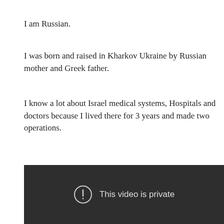I am Russian.
I was born and raised in Kharkov Ukraine by Russian mother and Greek father.
I know a lot about Israel medical systems, Hospitals and doctors because I lived there for 3 years and made two operations.
[Figure (screenshot): Dark video player area showing 'This video is private' message with an exclamation mark icon in a circle.]